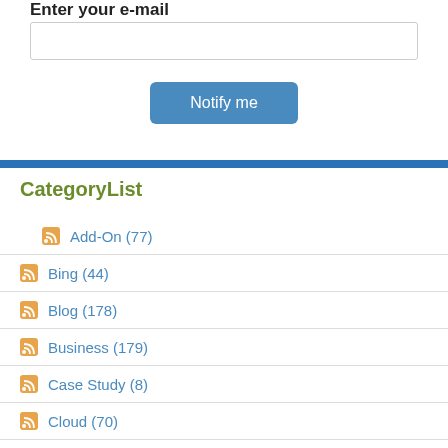Enter your e-mail
[Figure (screenshot): Email input text field with border]
[Figure (screenshot): Blue 'Notify me' button]
[Figure (infographic): Blue horizontal divider bar]
CategoryList
Add-On (77)
Bing (44)
Blog (178)
Business (179)
Case Study (8)
Cloud (70)
CRM (203)